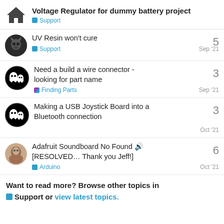Voltage Regulator for dummy battery project — Support
UV Resin won't cure — Support — Sep '21 — 5 replies
Need a build a wire connector - looking for part name — Finding Parts — Sep '21 — 3 replies
Making a USB Joystick Board into a Bluetooth connection — Oct '21 — 3 replies
Adafruit Soundboard No Found 🔊 [RESOLVED… Thank you Jeff!] — Arduino — Oct '21 — 6 replies
Want to read more? Browse other topics in Support or view latest topics.